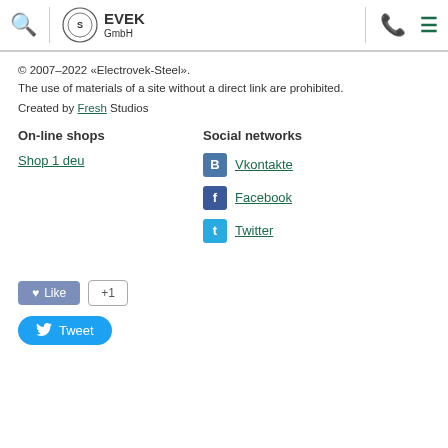EVEK GmbH — header with search, logo, phone, menu icons
© 2007–2022 «Electrovek-Steel».
The use of materials of a site without a direct link are prohibited.
Created by Fresh Studios
On-line shops
Shop 1 deu
Social networks
Vkontakte
Facebook
Twitter
[Figure (other): Like button with heart icon and +1 button]
[Figure (other): Tweet button with Twitter bird icon]